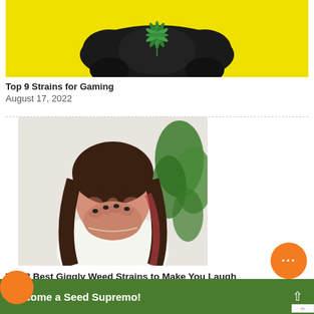[Figure (photo): A black gaming controller on a yellow background with a green cannabis leaf placed in front of it.]
Top 9 Strains for Gaming
August 17, 2022
[Figure (photo): A young woman with long dark hair laughing and covering her mouth with both hands, sitting in front of a white wall with a green leafy plant.]
The 8 Best Giggly Weed Strains to Make You Laugh
Become a Seed Supremo!